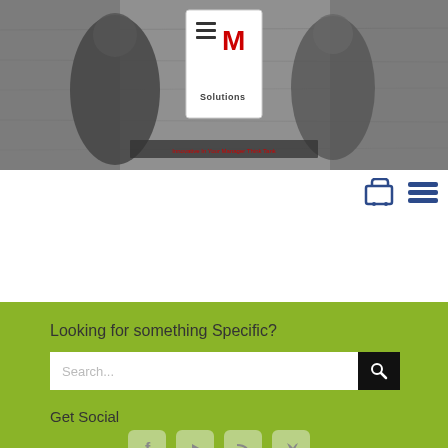[Figure (screenshot): Website header banner with EM Solutions logo, two people silhouettes on grey concrete background, red tagline text]
[Figure (infographic): Navigation icons: shopping cart and hamburger menu in dark blue]
Looking for something Specific?
[Figure (screenshot): Search bar with placeholder text 'Search...' and black search button with magnifying glass icon]
Get Social
[Figure (infographic): Social media icons: Facebook, YouTube, RSS feed, Twitter in rounded square buttons]